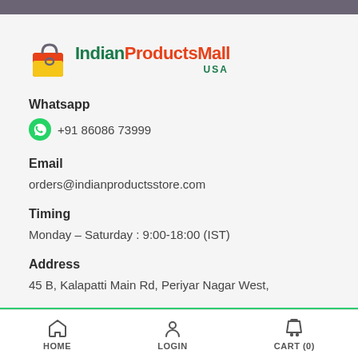[Figure (logo): IndianProductsMall USA logo with orange shopping bag icon and teal/orange text]
Whatsapp
+91 86086 73999
Email
orders@indianproductsstore.com
Timing
Monday – Saturday : 9:00-18:00 (IST)
Address
45 B, Kalapatti Main Rd, Periyar Nagar West,
HOME   LOGIN   CART (0)